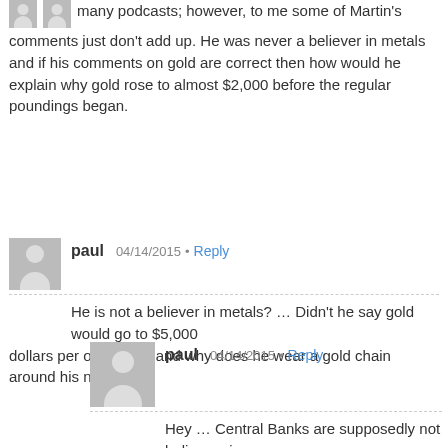many podcasts; however, to me some of Martin's comments just don't add up. He was never a believer in metals and if his comments on gold are correct then how would he explain why gold rose to almost $2,000 before the regular poundings began.
paul 04/14/2015 • Reply
He is not a believer in metals? … Didn't he say gold would go to $5,000 dollars per ounce? … and why does he wear a gold chain around his neck?
paul 04/14/2015 • Reply
Hey … Central Banks are supposedly not believers in metals … yet during 2014 Central Banks all around the world bought 477 tons of gold … this is close to a 50-year high … something is up … and it will likely be gold!